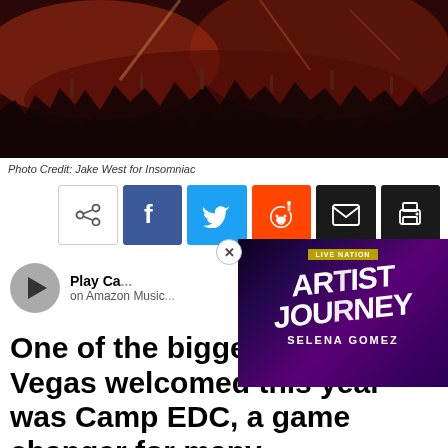[Figure (photo): Large crowd photo at a music festival (EDC Las Vegas), people with arms raised, colorful lights, dark night atmosphere]
Photo Credit: Jake West for Insomniac
[Figure (infographic): Social share buttons row: native share icon, Facebook (blue), Twitter (light blue), Reddit (orange), Email (dark), Print (dark)]
[Figure (infographic): Play button with text 'Play Ca... on Amazon Music' and an advertisement overlay showing Live Nation Artist Journey Selena Gomez with a close button]
One of the biggest ad... Las Vegas welcomed this year was Camp EDC, a game changer for many